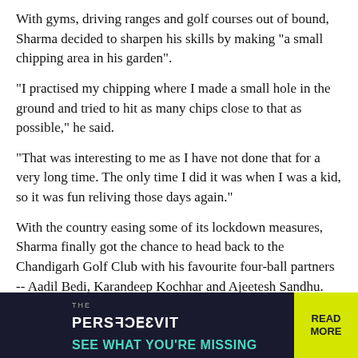With gyms, driving ranges and golf courses out of bound, Sharma decided to sharpen his skills by making "a small chipping area in his garden".
"I practised my chipping where I made a small hole in the ground and tried to hit as many chips close to that as possible," he said.
"That was interesting to me as I have not done that for a very long time. The only time I did it was when I was a kid, so it was fun reliving those days again."
With the country easing some of its lockdown measures, Sharma finally got the chance to head back to the Chandigarh Golf Club with his favourite four-ball partners -- Aadil Bedi, Karandeep Kochhar and Ajeetesh Sandhu.
He returned to hit his first shot there when it resumed operations last week.
"At first, it was more like going back to the golf course to have fun again. It didn't matter what kind of scores we shot but we just wanted to enjoy ourselves," he said.
[Figure (other): Advertisement banner for 'The Perspective' publication with teal and dark background, showing mirrored/reversed 'PERSPECTIVE' text logo, tagline 'SEE WHAT YOU'RE MISSING' in teal, and a yellow 'READ MORE' button on the right.]